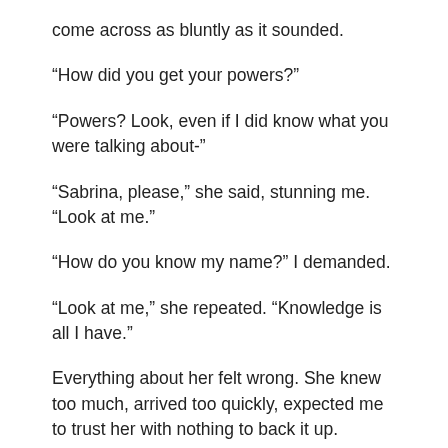come across as bluntly as it sounded.
“How did you get your powers?”
“Powers? Look, even if I did know what you were talking about-”
“Sabrina, please,” she said, stunning me. “Look at me.”
“How do you know my name?” I demanded.
“Look at me,” she repeated. “Knowledge is all I have.”
Everything about her felt wrong. She knew too much, arrived too quickly, expected me to trust her with nothing to back it up.
“I’m sorry, I can’t help you. Nobody did this to me, it just happened.”